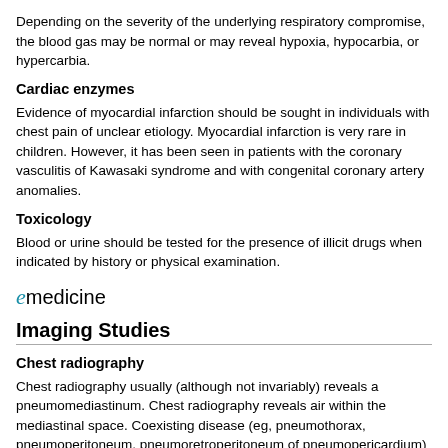Depending on the severity of the underlying respiratory compromise, the blood gas may be normal or may reveal hypoxia, hypocarbia, or hypercarbia.
Cardiac enzymes
Evidence of myocardial infarction should be sought in individuals with chest pain of unclear etiology. Myocardial infarction is very rare in children. However, it has been seen in patients with the coronary vasculitis of Kawasaki syndrome and with congenital coronary artery anomalies.
Toxicology
Blood or urine should be tested for the presence of illicit drugs when indicated by history or physical examination.
[Figure (logo): eMedicine logo with stylized italic e in teal and 'medicine' in black]
Imaging Studies
Chest radiography
Chest radiography usually (although not invariably) reveals a pneumomediastinum. Chest radiography reveals air within the mediastinal space. Coexisting disease (eg, pneumothorax, pneumoperitoneum, pneumoretroperitoneum of pneumopericardium) may also be evident.
Radiolucent streaks representing free air may be observed tracking along